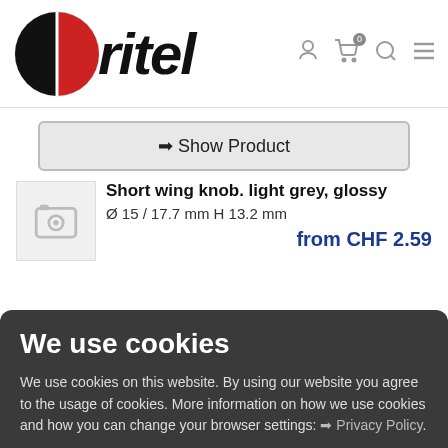[Figure (logo): Oritel company logo: red and black circular icon with italic bold 'ritel' text]
→ Show Product
Short wing knob. light grey, glossy
Ø 15 / 17.7 mm H 13.2 mm
from CHF 2.59
We use cookies
We use cookies on this website. By using our website you agree to the usage of cookies. More information on how we use cookies and how you can change your browser settings: → Privacy Policy.
↓ settings  → Imprint
✓ accept